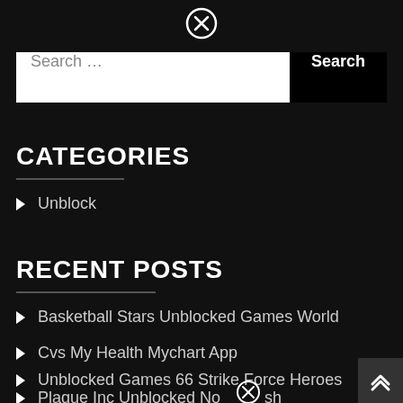[Figure (other): Close (X) icon circle at top center of page]
[Figure (screenshot): Search bar with text field showing 'Search ...' placeholder and black 'Search' button]
CATEGORIES
Unblock
RECENT POSTS
Basketball Stars Unblocked Games World
Cvs My Health Mychart App
Unblocked Games 66 Strike Force Heroes
Plague Inc Unblocked No Flash
[Figure (other): Close (X) icon circle overlaid on bottom fourth list item text]
[Figure (other): Scroll-to-top button with double chevron up arrow at bottom right corner]